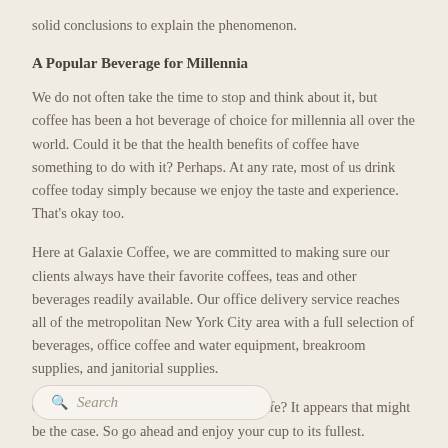solid conclusions to explain the phenomenon.
A Popular Beverage for Millennia
We do not often take the time to stop and think about it, but coffee has been a hot beverage of choice for millennia all over the world. Could it be that the health benefits of coffee have something to do with it? Perhaps. At any rate, most of us drink coffee today simply because we enjoy the taste and experience. That's okay too.
Here at Galaxie Coffee, we are committed to making sure our clients always have their favorite coffees, teas and other beverages readily available. Our office delivery service reaches all of the metropolitan New York City area with a full selection of beverages, office coffee and water equipment, breakroom supplies, and janitorial supplies.
Could coffee consumption offer longer life? It appears that might be the case. So go ahead and enjoy your cup to its fullest.
Search